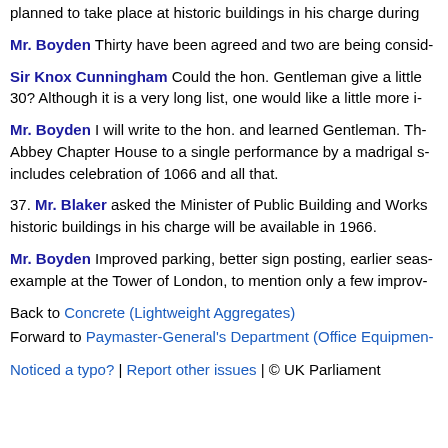planned to take place at historic buildings in his charge during
Mr. Boyden Thirty have been agreed and two are being consid-
Sir Knox Cunningham Could the hon. Gentleman give a little 30? Although it is a very long list, one would like a little more i-
Mr. Boyden I will write to the hon. and learned Gentleman. Th- Abbey Chapter House to a single performance by a madrigal s- includes celebration of 1066 and all that.
37. Mr. Blaker asked the Minister of Public Building and Works historic buildings in his charge will be available in 1966.
Mr. Boyden Improved parking, better sign posting, earlier seas- example at the Tower of London, to mention only a few improv-
Back to Concrete (Lightweight Aggregates)
Forward to Paymaster-General's Department (Office Equipmen-
Noticed a typo? | Report other issues | © UK Parliament